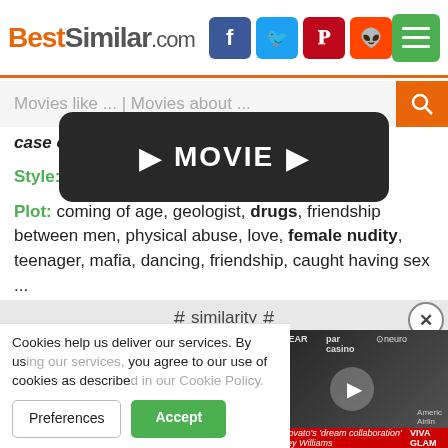[Figure (screenshot): BestSimilar.com website header with logo, Facebook, Twitter, Pinterest, Reddit social icons, and green hamburger menu button]
[Figure (screenshot): Search bar with placeholder text 'Movies like ... | Movies about ...' and orange search button]
case of heroin for a friend.
Style: non-linear
Plot: coming of age, geologist, drugs, friendship between men, physical abuse, love, female nudity, teenager, mafia, dancing, friendship, caught having sex ...
Place: canada, belgium, amsterdam
[Figure (screenshot): Dark rounded movie play button with MOVIE text]
# similarity #
[Figure (screenshot): Video overlay showing a person at an event with logos EYEWEAR, par casino, neuro, RAFT, VIVA GLAM, American Airlines and red bar reading: Demi Lovato's 'dream collaboration' is Hayley Williams]
Cookies help us deliver our services. By using our services, you agree to our use of cookies as described in our Cookie Policy.
Preferences
Accept